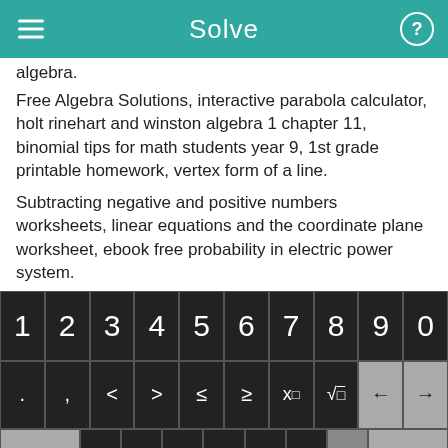Solve
algebra.
Free Algebra Solutions, interactive parabola calculator, holt rinehart and winston algebra 1 chapter 11, binomial tips for math students year 9, 1st grade printable homework, vertex form of a line.
Subtracting negative and positive numbers worksheets, linear equations and the coordinate plane worksheet, ebook free probability in electric power system.
[Figure (screenshot): Mobile math keyboard with rows of calculator keys: digits 1-0, symbols including < > ≤ ≥ x^□ √ and arrows, function keys f(x) x□ fraction absolute-value parentheses * / and delete, and bottom row with abc rotate x y = + - and green Solve! button.]